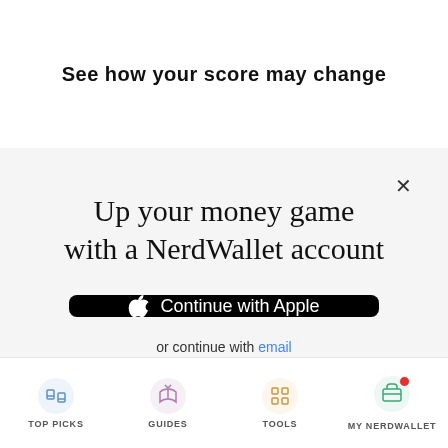See how your score may change
Up your money game with a NerdWallet account
[Figure (screenshot): Close (X) button in top-right corner of modal dialog]
[Figure (screenshot): Black button with Apple logo icon and text 'Continue with Apple']
[Figure (screenshot): Button with Google 'G' logo on white left panel and blue right panel with text 'Continue with Google']
or continue with email
By signing up, I agree to NerdWallet's Terms of Service and Privacy Policy.
TOP PICKS    GUIDES    TOOLS    MY NERDWALLET